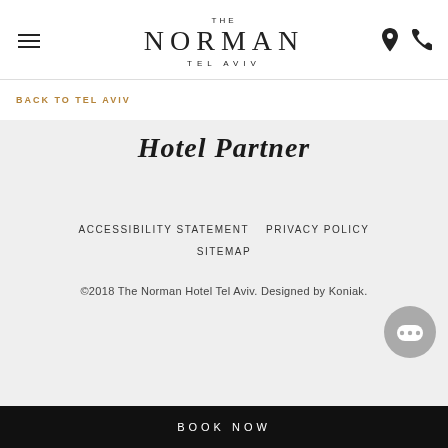THE NORMAN TEL AVIV
BACK TO TEL AVIV
Hotel Partner
ACCESSIBILITY STATEMENT   PRIVACY POLICY   SITEMAP
©2018 The Norman Hotel Tel Aviv. Designed by Koniak.
BOOK NOW